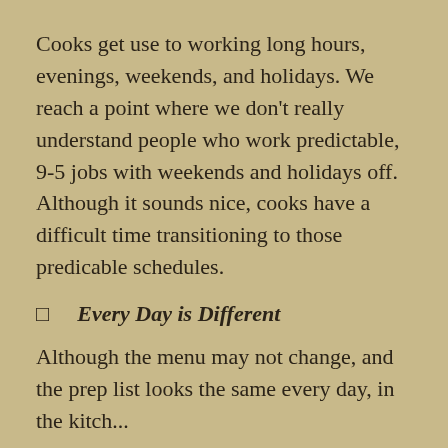Cooks get use to working long hours, evenings, weekends, and holidays. We reach a point where we don't really understand people who work predictable, 9-5 jobs with weekends and holidays off. Although it sounds nice, cooks have a difficult time transitioning to those predicable schedules.
❑        Every Day is Different
Although the menu may not change, and the prep list looks the same every day, in the kitch...